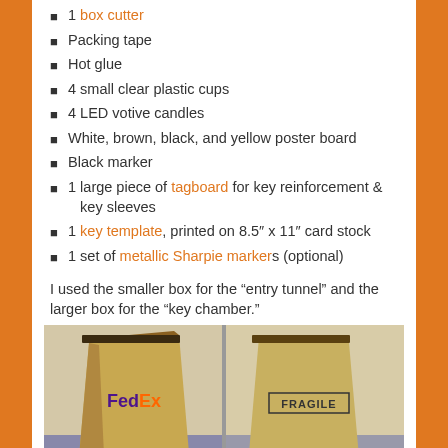1 box cutter
Packing tape
Hot glue
4 small clear plastic cups
4 LED votive candles
White, brown, black, and yellow poster board
Black marker
1 large piece of tagboard for key reinforcement & key sleeves
1 key template, printed on 8.5″ x 11″ card stock
1 set of metallic Sharpie markers (optional)
I used the smaller box for the “entry tunnel” and the larger box for the “key chamber.”
[Figure (photo): Two cardboard boxes side by side. Left box is a FedEx box labeled 'Entry tunnel', right box is labeled 'FRAGILE' and 'Key chamber'.]